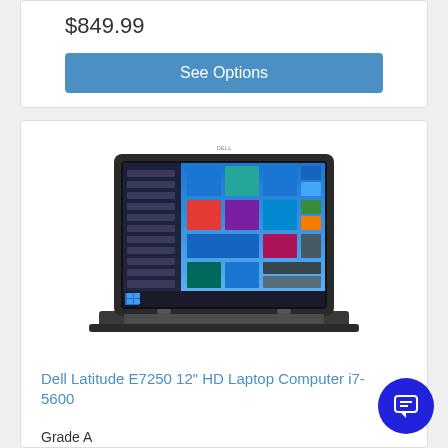$849.99
See Options
[Figure (photo): Dell Latitude E7250 laptop open, showing Windows 10 Start screen on the display]
Dell Latitude E7250 12" HD Laptop Computer i7-5600
Grade A
$499.99